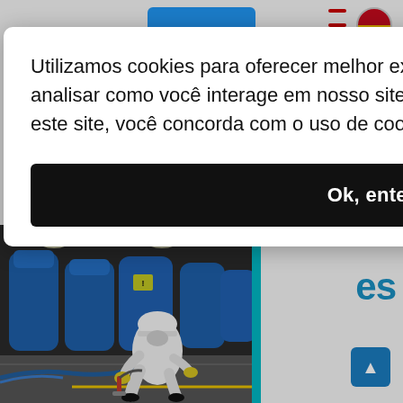Utilizamos cookies para oferecer melhor experiência, melhorar o desempenho, analisar como você interage em nosso site e personalizar conteúdo. Ao utilizar este site, você concorda com o uso de cookies.
Ok, entendi!
[Figure (photo): Industrial worker in white protective suit and hard hat, crouching and using equipment on a floor in a facility with large blue tanks in the background.]